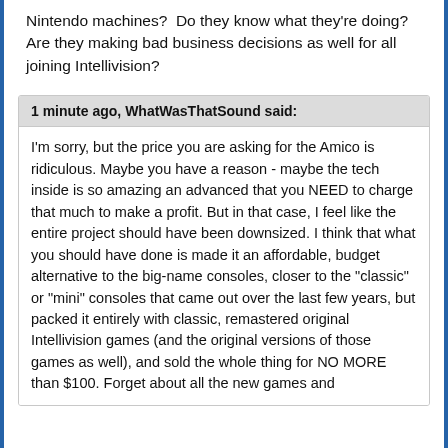Nintendo machines?  Do they know what they're doing?  Are they making bad business decisions as well for all joining Intellivision?
1 minute ago, WhatWasThatSound said:
I'm sorry, but the price you are asking for the Amico is ridiculous. Maybe you have a reason - maybe the tech inside is so amazing an advanced that you NEED to charge that much to make a profit. But in that case, I feel like the entire project should have been downsized. I think that what you should have done is made it an affordable, budget alternative to the big-name consoles, closer to the "classic" or "mini" consoles that came out over the last few years, but packed it entirely with classic, remastered original Intellivision games (and the original versions of those games as well), and sold the whole thing for NO MORE than $100. Forget about all the new games and